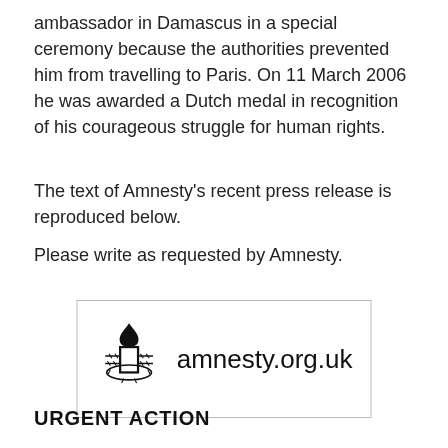ambassador in Damascus in a special ceremony because the authorities prevented him from travelling to Paris. On 11 March 2006 he was awarded a Dutch medal in recognition of his courageous struggle for human rights.
The text of Amnesty's recent press release is reproduced below.
Please write as requested by Amnesty.
[Figure (logo): Amnesty International logo showing a candle wrapped in barbed wire, with text 'amnesty.org.uk']
URGENT ACTION